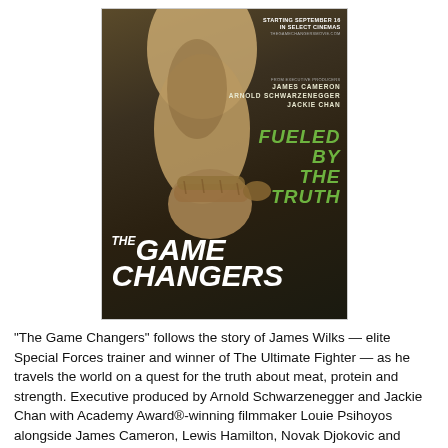[Figure (photo): Movie poster for 'The Game Changers' — dark brown/olive background with a muscular fist/arm reaching down, green text 'FUELED BY THE TRUTH', white bold text 'THE GAME CHANGERS', executive producers listed as James Cameron, Arnold Schwarzenegger, Jackie Chan. Starting September 16 in select cinemas.]
“The Game Changers” follows the story of James Wilks — elite Special Forces trainer and winner of The Ultimate Fighter — as he travels the world on a quest for the truth about meat, protein and strength. Executive produced by Arnold Schwarzenegger and Jackie Chan with Academy Award®-winning filmmaker Louie Psihoyos alongside James Cameron, Lewis Hamilton, Novak Djokovic and Chris Paul, “The Game Changers” will debut in cinemas around the world on September 16.